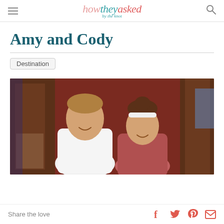how they asked by the knot
Amy and Cody
Destination
[Figure (photo): A couple posing together in a warm-lit indoor setting with dark red walls and wooden accents. The man is wearing a white shirt and the woman has a white headband, both smiling.]
Share the love